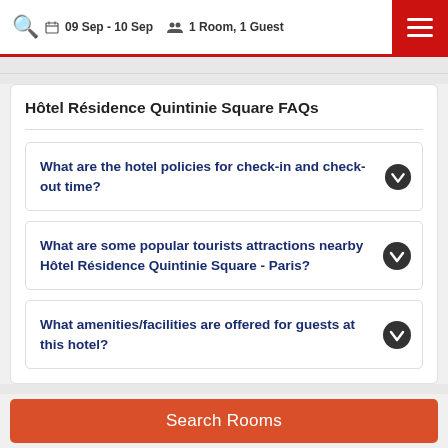09 Sep - 10 Sep  1 Room, 1 Guest
Hôtel Résidence Quintinie Square FAQs
What are the hotel policies for check-in and check-out time?
What are some popular tourists attractions nearby Hôtel Résidence Quintinie Square - Paris?
What amenities/facilities are offered for guests at this hotel?
Search Rooms